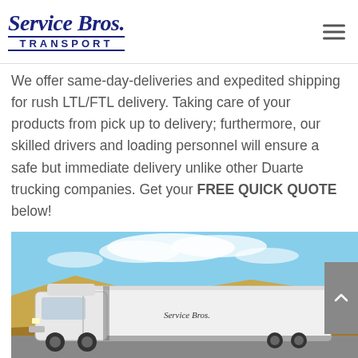Service Bros. Transport
We offer same-day-deliveries and expedited shipping for rush LTL/FTL delivery. Taking care of your products from pick up to delivery; furthermore, our skilled drivers and loading personnel will ensure a safe but immediate delivery unlike other Duarte trucking companies. Get your FREE QUICK QUOTE below!
[Figure (photo): White Service Bros semi-truck with trailer parked on roadside with golden hills and blue sky in background]